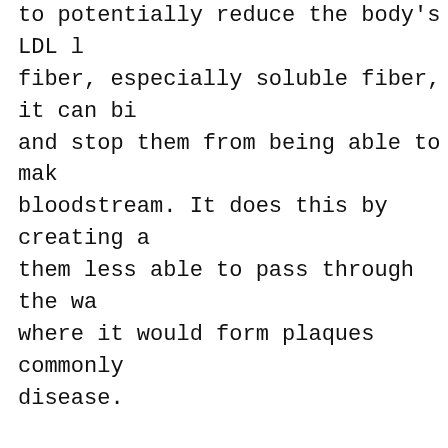to potentially reduce the body's LDL level by adding fiber, especially soluble fiber, it can bind and stop them from being able to make it to the bloodstream. It does this by creating a gel around them less able to pass through the wall and into where it would form plaques commonly associated with disease.
We also made sure to have plenty of protein. Instead of soy, we choose cage-free eggs as our source of protein. Eggs, and specifically egg whites, are one of the best forms of protein out there, even for athletes. If you use just the egg whites, you lose the extra nutrients, making for an even more nutritious breakfast.
When it came down to it, we wanted to create something that was healthy for you without creating any risk to your health. We'd like to think that we